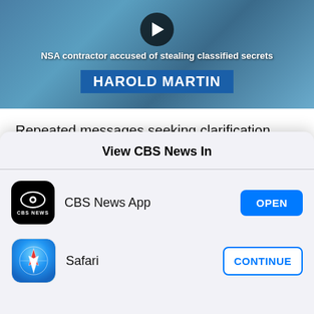[Figure (screenshot): Video thumbnail showing NSA contractor Harold Martin story with play button, caption 'NSA contractor accused of stealing classified secrets' and name bar 'HAROLD MARTIN']
Repeated messages seeking clarification from EastNets went unreturned.
The leak also included tools designed to target
View CBS News In
[Figure (logo): CBS News App icon - black with CBS eye logo and CBS NEWS text]
CBS News App
[Figure (logo): Safari browser icon - compass on blue gradient background]
Safari